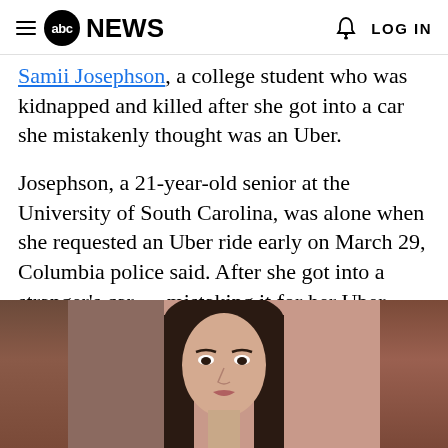abc NEWS  LOG IN
Samii Josephson, a college student who was kidnapped and killed after she got into a car she mistakenly thought was an Uber.
Josephson, a 21-year-old senior at the University of South Carolina, was alone when she requested an Uber ride early on March 29, Columbia police said. After she got into a stranger's car — mistaking it for her Uber — the child safely locks were activated, preventing her from escaping, police said.
[Figure (photo): Portrait photo of a young woman with long dark hair against a light background, flanked by blurred darker background panels on both sides.]